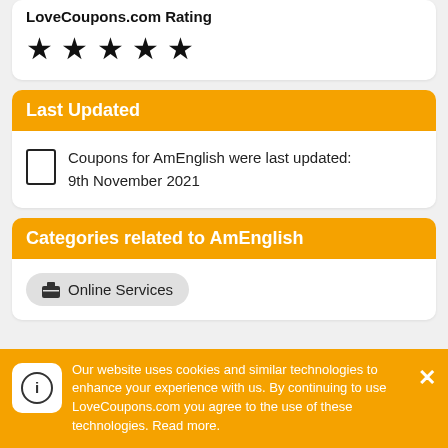[Figure (other): Five black filled star icons representing a 5-star rating]
Last Updated
Coupons for AmEnglish were last updated: 9th November 2021
Categories related to AmEnglish
Online Services
Our website uses cookies and similar technologies to enhance your experience with us. By continuing to use LoveCoupons.com you agree to the use of these technologies. Read more.